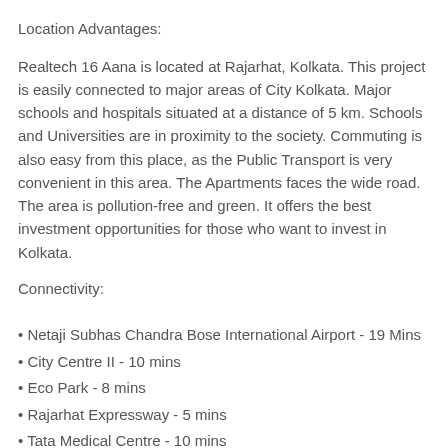Location Advantages:
Realtech 16 Aana is located at Rajarhat, Kolkata. This project is easily connected to major areas of City Kolkata. Major schools and hospitals situated at a distance of 5 km. Schools and Universities are in proximity to the society. Commuting is also easy from this place, as the Public Transport is very convenient in this area. The Apartments faces the wide road. The area is pollution-free and green. It offers the best investment opportunities for those who want to invest in Kolkata.
Connectivity:
• Netaji Subhas Chandra Bose International Airport - 19 Mins
• City Centre II - 10 mins
• Eco Park - 8 mins
• Rajarhat Expressway - 5 mins
• Tata Medical Centre - 10 mins
• Sector - V - 15 mins
Amenities:
• Community Hall